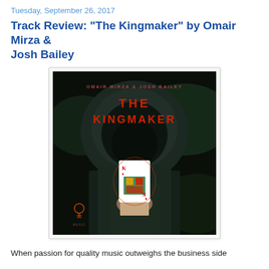Tuesday, September 26, 2017
Track Review: "The Kingmaker" by Omair Mirza & Josh Bailey
[Figure (photo): Album cover for 'The Kingmaker' by Omair Mirza & Josh Bailey. Dark image of a hooded figure holding up a King of Diamonds playing card, with red text overlaid reading 'OMAIR MIRZA & JOSH BAILEY' and 'THE KINGMAKER'. A small light bulb logo and 'MUSIC' text appears in the lower left.]
When passion for quality music outweighs the business side